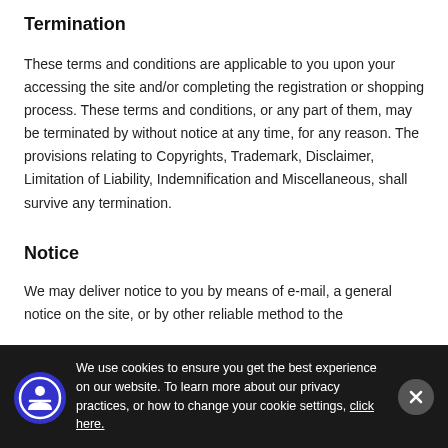Termination
These terms and conditions are applicable to you upon your accessing the site and/or completing the registration or shopping process. These terms and conditions, or any part of them, may be terminated by without notice at any time, for any reason. The provisions relating to Copyrights, Trademark, Disclaimer, Limitation of Liability, Indemnification and Miscellaneous, shall survive any termination.
Notice
We may deliver notice to you by means of e-mail, a general notice on the site, or by other reliable method to the
We use cookies to ensure you get the best experience on our website. To learn more about our privacy practices, or how to change your cookie settings, click here.